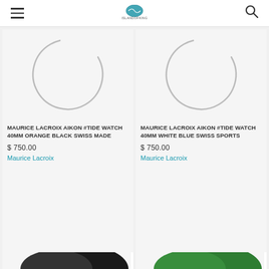Header navigation with logo, hamburger menu, and search icon
[Figure (photo): Loading spinner / circular arc in light gray on white background - product image placeholder for watch 1]
MAURICE LACROIX AIKON #TIDE WATCH 40MM ORANGE BLACK SWISS MADE
$ 750.00
Maurice Lacroix
[Figure (photo): Loading spinner / circular arc in light gray on white background - product image placeholder for watch 2]
MAURICE LACROIX AIKON #TIDE WATCH 40MM WHITE BLUE SWISS SPORTS
$ 750.00
Maurice Lacroix
[Figure (photo): Partial product image showing black item at bottom left]
[Figure (photo): Partial product image showing green item at bottom right]